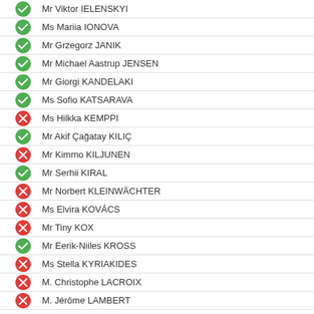Mr Viktor IELENSKYI
Ms Mariia IONOVA
Mr Grzegorz JANIK
Mr Michael Aastrup JENSEN
Mr Giorgi KANDELAKI
Ms Sofio KATSARAVA
Ms Hilkka KEMPPI
Mr Akif Çağatay KILIÇ
Mr Kimmo KILJUNEN
Mr Serhii KIRAL
Mr Norbert KLEINWÄCHTER
Ms Elvira KOVÁCS
Mr Tiny KOX
Mr Eerik-Niiles KROSS
Ms Stella KYRIAKIDES
M. Christophe LACROIX
M. Jérôme LAMBERT